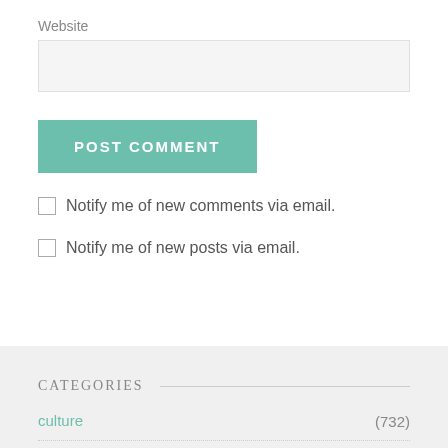Website
POST COMMENT
Notify me of new comments via email.
Notify me of new posts via email.
CATEGORIES
culture (732)